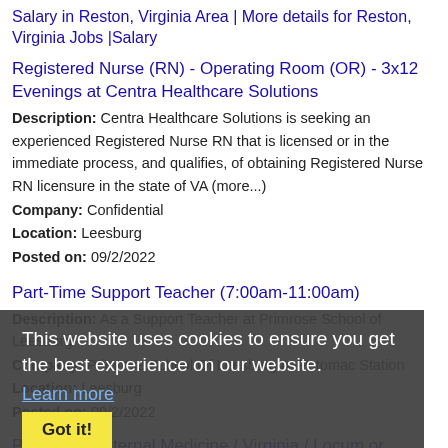Salary in Reston, Virginia Area | More details for Reston, Virginia Jobs |Salary
Registered Nurse (RN) - Operating Room (OR) - 3x12 Evenings at Centra Healthcare Solutions
Description: Centra Healthcare Solutions is seeking an experienced Registered Nurse RN that is licensed or in the immediate process, and qualifies, of obtaining Registered Nurse RN licensure in the state of VA (more...)
Company: Confidential
Location: Leesburg
Posted on: 09/2/2022
Part-Time Support Teacher (7:00am-11:00am)
Description: As a Support Teacher at Primrose School of Leesburg
Company: Primrose School Of Leesburg At Potomac Station
Location: Leesburg
Posted on: 09/2/2022
[Figure (screenshot): Cookie consent overlay banner with text 'This website uses cookies to ensure you get the best experience on our website.' with a 'Learn more' link and a 'Got it!' button]
Physician / Internal Medicine / Virginia / Locum or Permanent / OBGYN Physician - Locum Tenens Job
Description: Cross Country Locums is seeking a BC OB/GYN Physician to provide coverage for a facility in Virginia. If you are interested, but the details aren't a perfect fit, call me and let's